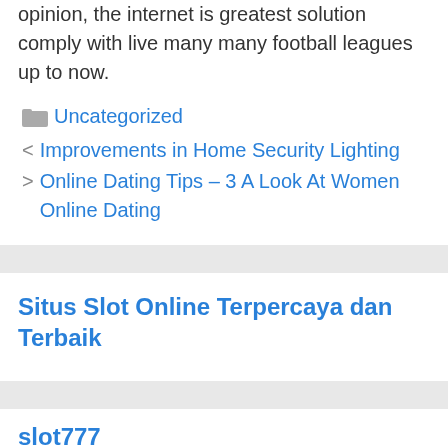opinion, the internet is greatest solution comply with live many many football leagues up to now.
Uncategorized
< Improvements in Home Security Lighting
> Online Dating Tips – 3 A Look At Women Online Dating
Situs Slot Online Terpercaya dan Terbaik
slot777